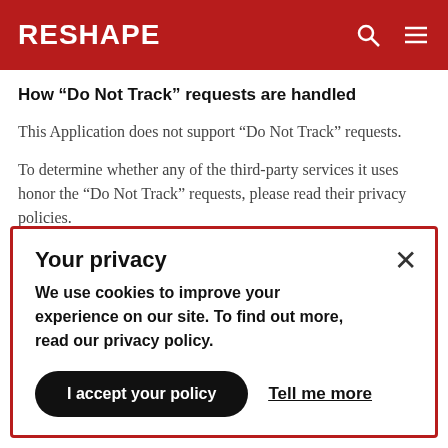RESHAPE
How “Do Not Track” requests are handled
This Application does not support “Do Not Track” requests.
To determine whether any of the third-party services it uses honor the “Do Not Track” requests, please read their privacy policies.
Your privacy
We use cookies to improve your experience on our site. To find out more, read our privacy policy.
I accept your policy
Tell me more